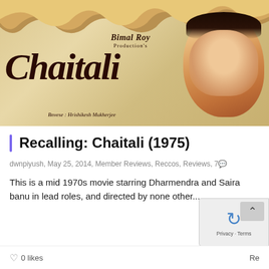[Figure (photo): Movie poster for Chaitali (1975) by Bimal Roy Productions, directed by Hrishikesh Mukherjee. Shows stylized script title 'Chaitali' with actor face on right side and torn paper effect at top.]
Recalling: Chaitali (1975)
dwnpiyush, May 25, 2014, Member Reviews, Reccos, Reviews, 7
This is a mid 1970s movie starring Dharmendra and Saira banu in lead roles, and directed by none other...
0 likes
Privacy - Terms